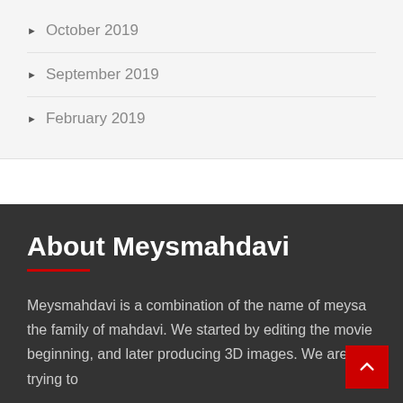October 2019
September 2019
February 2019
About Meysmahdavi
Meysmahdavi is a combination of the name of meysa and the family of mahdavi. We started by editing the movie beginning, and later producing 3D images. We are trying to